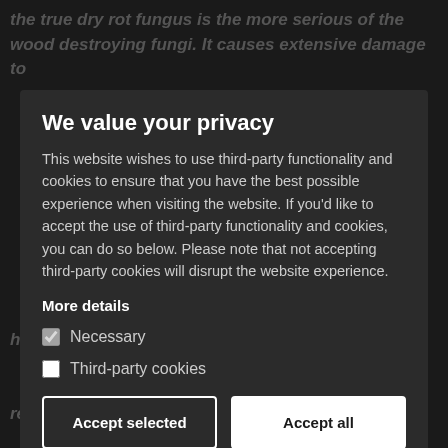the true dry rot fungus is the more serious of the wood destroying fungi. It causes extensive damage to ... treated in time. It will spread ... The fruiting body (or fungus/mushroom ... off millions of spores which resembles red dust and is often mistaken for brick dust. Of all ... this should not be delayed. It will ... from floor to floor and room to room destroying all timber in its wake. Call us today
We value your privacy
This website wishes to use third-party functionality and cookies to ensure that you have the best possible experience when visiting the website. If you'd like to accept the use of third-party functionality and cookies, you can do so below. Please note that not accepting third-party cookies will disrupt the website experience.
More details
Necessary
Third-party cookies
Accept selected | Accept all